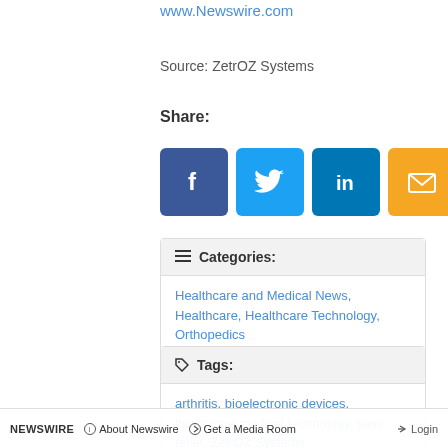www.Newswire.com
Source: ZetrOZ Systems
Share:
[Figure (other): Social share buttons: Facebook (blue), Twitter (light blue), LinkedIn (blue), Email (yellow/orange)]
Categories: Healthcare and Medical News, Healthcare, Healthcare Technology, Orthopedics
Tags: arthritis, bioelectronic devices, healthcare medical technology, pain relief, ZetrOZ Systems
NEWSWIRE  ⓘ About Newswire  ➡ Get a Media Room  ➡ Login